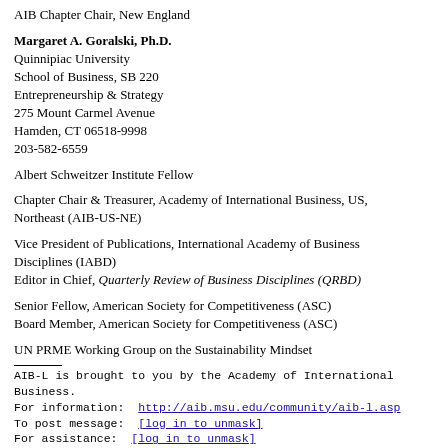AIB Chapter Chair, New England
Margaret A. Goralski, Ph.D.
Quinnipiac University
School of Business, SB 220
Entrepreneurship & Strategy
275 Mount Carmel Avenue
Hamden, CT 06518-9998
203-582-6559
Albert Schweitzer Institute Fellow
Chapter Chair & Treasurer, Academy of International Business, US, Northeast (AIB-US-NE)
Vice President of Publications, International Academy of Business Disciplines (IABD)
Editor in Chief, Quarterly Review of Business Disciplines (QRBD)
Senior Fellow, American Society for Competitiveness (ASC)
Board Member, American Society for Competitiveness (ASC)
UN PRME Working Group on the Sustainability Mindset
AIB-L is brought to you by the Academy of International Business.
For information: http://aib.msu.edu/community/aib-l.asp
To post message: [log in to unmask]
For assistance: [log in to unmask]